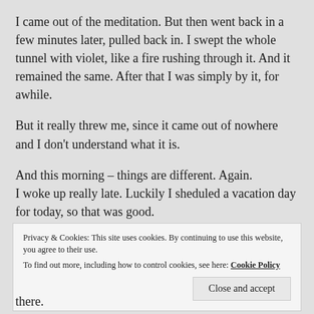I came out of the meditation. But then went back in a few minutes later, pulled back in. I swept the whole tunnel with violet, like a fire rushing through it. And it remained the same. After that I was simply by it, for awhile.
But it really threw me, since it came out of nowhere and I don't understand what it is.
And this morning – things are different. Again.
I woke up really late. Luckily I sheduled a vacation day for today, so that was good.
Privacy & Cookies: This site uses cookies. By continuing to use this website, you agree to their use.
To find out more, including how to control cookies, see here: Cookie Policy
Close and accept
there.